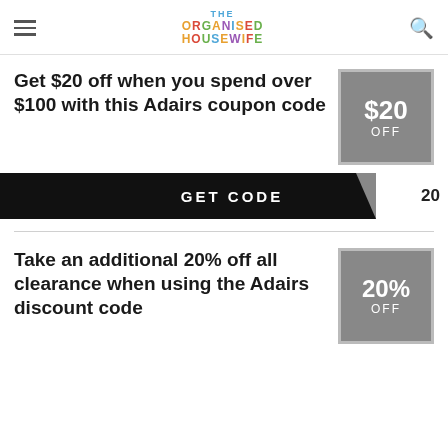THE ORGANISED HOUSEWIFE
Get $20 off when you spend over $100 with this Adairs coupon code
[Figure (other): Gray badge with white text showing $20 OFF]
GET CODE 20
Take an additional 20% off all clearance when using the Adairs discount code
[Figure (other): Gray badge with white text showing 20% OFF]